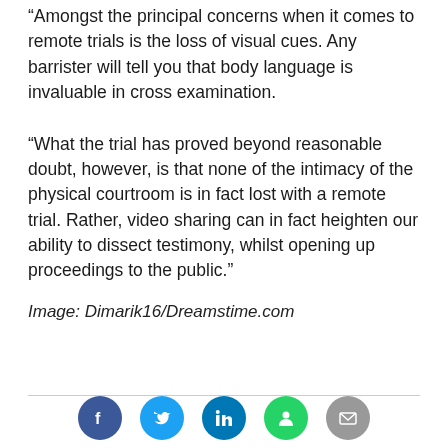“Amongst the principal concerns when it comes to remote trials is the loss of visual cues. Any barrister will tell you that body language is invaluable in cross examination.
“What the trial has proved beyond reasonable doubt, however, is that none of the intimacy of the physical courtroom is in fact lost with a remote trial. Rather, video sharing can in fact heighten our ability to dissect testimony, whilst opening up proceedings to the public.”
Image: Dimarik16/Dreamstime.com